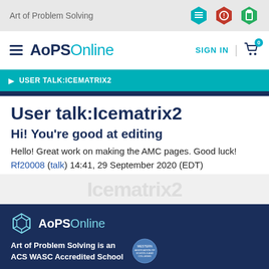Art of Problem Solving
[Figure (logo): AoPS Online logo with hamburger menu, SIGN IN link, and cart icon]
USER TALK:ICEMATRIX2
User talk:Icematrix2
Hi! You're good at editing
Hello! Great work on making the AMC pages. Good luck! Rf20008 (talk) 14:41, 29 September 2020 (EDT)
AoPS Online — Art of Problem Solving is an ACS WASC Accredited School